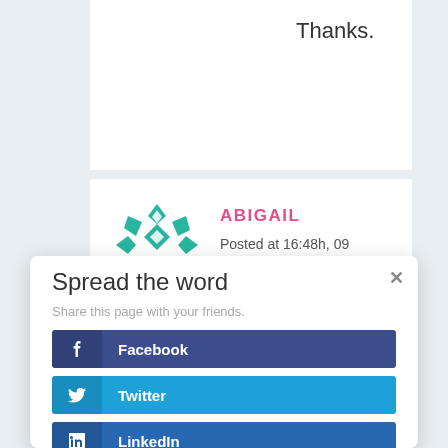Thanks.
ABIGAIL
Posted at 16:48h, 09
[Figure (illustration): Teal geometric diamond/star pattern avatar for user ABIGAIL]
Spread the word
Share this page with your friends.
Facebook
Twitter
LinkedIn